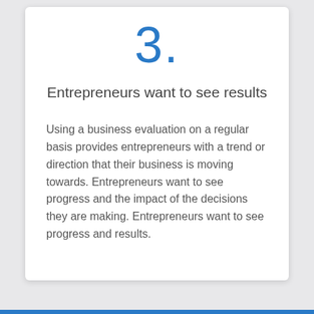3.
Entrepreneurs want to see results
Using a business evaluation on a regular basis provides entrepreneurs with a trend or direction that their business is moving towards. Entrepreneurs want to see progress and the impact of the decisions they are making. Entrepreneurs want to see progress and results.